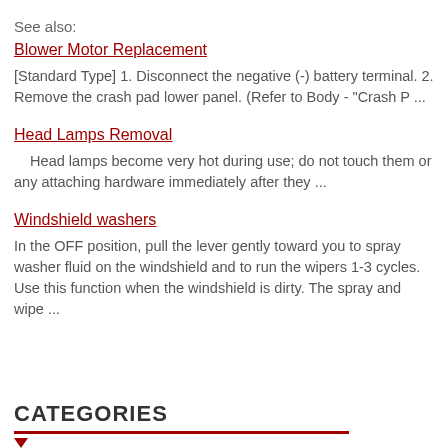See also:
Blower Motor Replacement
[Standard Type] 1. Disconnect the negative (-) battery terminal. 2. Remove the crash pad lower panel. (Refer to Body - "Crash P ...
Head Lamps Removal
Head lamps become very hot during use; do not touch them or any attaching hardware immediately after they ...
Windshield washers
In the OFF position, pull the lever gently toward you to spray washer fluid on the windshield and to run the wipers 1-3 cycles. Use this function when the windshield is dirty. The spray and wipe ...
CATEGORIES